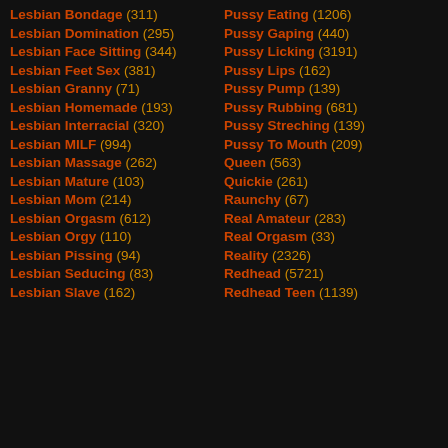Lesbian Bondage (311)
Lesbian Domination (295)
Lesbian Face Sitting (344)
Lesbian Feet Sex (381)
Lesbian Granny (71)
Lesbian Homemade (193)
Lesbian Interracial (320)
Lesbian MILF (994)
Lesbian Massage (262)
Lesbian Mature (103)
Lesbian Mom (214)
Lesbian Orgasm (612)
Lesbian Orgy (110)
Lesbian Pissing (94)
Lesbian Seducing (83)
Lesbian Slave (162)
Pussy Eating (1206)
Pussy Gaping (440)
Pussy Licking (3191)
Pussy Lips (162)
Pussy Pump (139)
Pussy Rubbing (681)
Pussy Streching (139)
Pussy To Mouth (209)
Queen (563)
Quickie (261)
Raunchy (67)
Real Amateur (283)
Real Orgasm (33)
Reality (2326)
Redhead (5721)
Redhead Teen (1139)